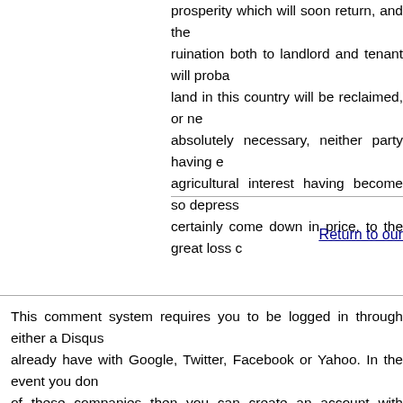prosperity which will soon return, and the ruination both to landlord and tenant will proba land in this country will be reclaimed, or ne absolutely necessary, neither party having e agricultural interest having become so depress certainly come down in price, to the great loss c
Return to our
This comment system requires you to be logged in through either a Disqus already have with Google, Twitter, Facebook or Yahoo. In the event you don of these companies then you can create an account with Disqus. All comme won't display until the moderator has approved your comment.